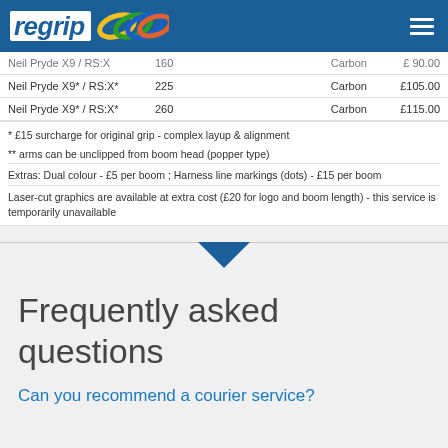regrip [logo]
| Model | Size |  | Material | Price |
| --- | --- | --- | --- | --- |
| Neil Pryde X9* / RS:X | 160 |  | Carbon | £ 90.00 |
| Neil Pryde X9* / RS:X* | 225 |  | Carbon | £105.00 |
| Neil Pryde X9* / RS:X* | 260 |  | Carbon | £115.00 |
* £15 surcharge for original grip - complex layup & alignment
** arms can be unclipped from boom head (popper type)
Extras: Dual colour - £5 per boom ;   Harness line markings (dots) - £15 per boom
Laser-cut graphics are available at extra cost (£20 for logo and boom length) - this service is temporarily unavailable
Frequently asked questions
Can you recommend a courier service?